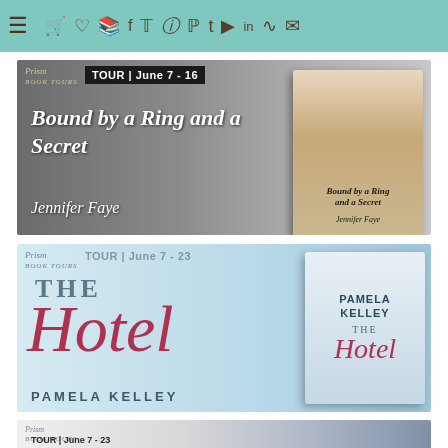[Figure (screenshot): Navigation bar with teal/mint background, hamburger menu icon on left, followed by various social media and utility icons (cart, heart, book, Facebook, Twitter, Instagram, Pinterest, Tumblr, YouTube, LinkedIn, RSS, email) in dark brown color.]
[Figure (illustration): Book tour promotional banner for 'Bound by a Ring and a Secret' by Jennifer Faye. Dark gray background with wedding rings. Tour dates: June 7-16. Prism Book Tours logo top left. Right side shows book cover with woman and dog with flower crown.]
[Figure (illustration): Book tour promotional banner for 'The Hotel' by Pamela Kelley. Light blue background. Tour dates: June 7-23. Prism Book Tours logo top left. Large italic red script 'Hotel' title with book cover on right showing coastal hotel scene.]
[Figure (illustration): Book tour promotional banner for 'Black Dawn' series. Tour dates: June 7-23. Prism Book Tours logo top left. Partially visible banner with dark fantasy book covers on the right side. Scroll-to-top arrow button visible in bottom right corner.]